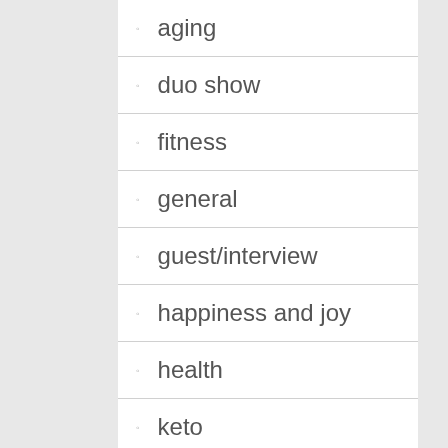aging
duo show
fitness
general
guest/interview
happiness and joy
health
keto